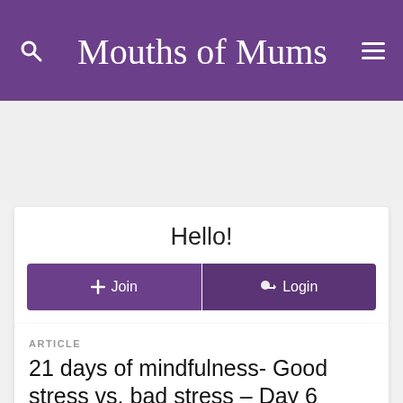Mouths of Mums
Hello!
+ Join   ➔ Login
ARTICLE
21 days of mindfulness- Good stress vs. bad stress – Day 6